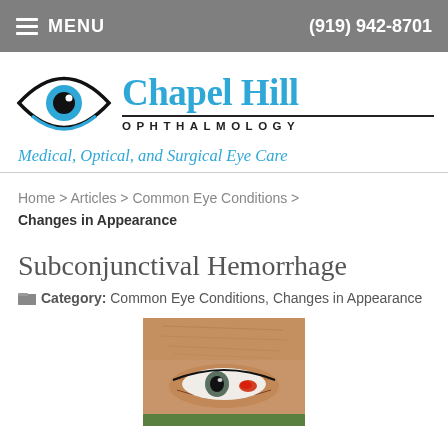MENU   (919) 942-8701
[Figure (logo): Chapel Hill Ophthalmology logo with eye graphic, 'Chapel Hill' in blue serif font, 'OPHTHALMOLOGY' in black uppercase with underline, tagline 'Medical, Optical, and Surgical Eye Care' in blue italic]
Home > Articles > Common Eye Conditions > Changes in Appearance
Subconjunctival Hemorrhage
Category: Common Eye Conditions, Changes in Appearance
[Figure (photo): Close-up photo of an elderly person's eye showing a subconjunctival hemorrhage — a red blood spot visible on the white of the eye]